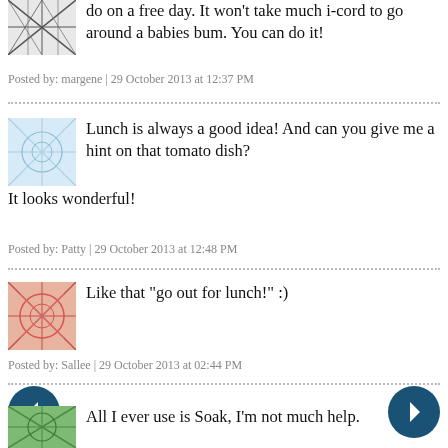do on a free day. It won't take much i-cord to go around a babies bum. You can do it!
Posted by: margene | 29 October 2013 at 12:37 PM
Lunch is always a good idea! And can you give me a hint on that tomato dish? It looks wonderful!
Posted by: Patty | 29 October 2013 at 12:48 PM
Like that "go out for lunch!" :)
Posted by: Sallee | 29 October 2013 at 02:44 PM
All I ever use is Soak, I'm not much help.